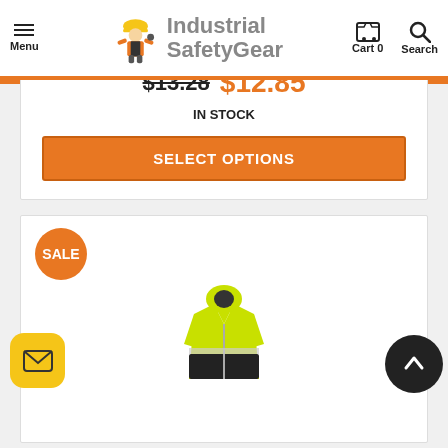Industrial SafetyGear — Menu, Cart 0, Search
Part: PY_RTS2TNS
Bulk Pricing
$13.28 $12.85
IN STOCK
SELECT OPTIONS
[Figure (photo): Product card with SALE badge and high-visibility safety jacket in yellow/black]
[Figure (illustration): Email button (yellow rounded square with envelope icon)]
[Figure (illustration): Scroll to top button (black circle with up chevron)]